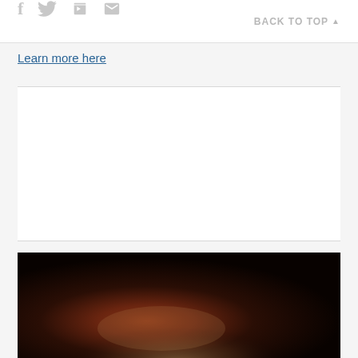Social share icons and BACK TO TOP navigation
Learn more here
[Figure (photo): Dark photo partially visible at bottom of page showing a warm reddish-brown subject, possibly food or organic material, against a dark background]